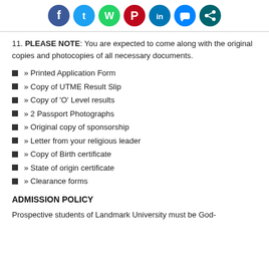[Figure (other): Social media sharing icons row: Facebook (blue), Twitter (light blue), WhatsApp (green), Pinterest (red), LinkedIn (blue), Messenger (blue), Share (teal)]
11. PLEASE NOTE: You are expected to come along with the original copies and photocopies of all necessary documents.
» Printed Application Form
» Copy of UTME Result Slip
» Copy of 'O' Level results
» 2 Passport Photographs
» Original copy of sponsorship
» Letter from your religious leader
» Copy of Birth certificate
» State of origin certificate
» Clearance forms
ADMISSION POLICY
Prospective students of Landmark University must be God-